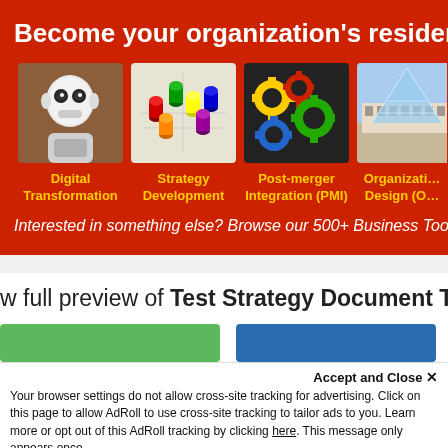Become your organization's resident ex…
[Figure (photo): Robot humanoid (Pepper robot) white background]
Digital Transformation
[Figure (photo): Colorful board game pieces on a board – strategy]
Strategy Development
[Figure (photo): Colorful interlocking gears]
Post-merger Integration (PMI)
[Figure (photo): Louvre pyramid building Paris]
Organizati… Design (O…
Interested in something else? Browse our 500+ Business Too…
w full preview of Test Strategy Document Templat…
Accept and Close ✕
Your browser settings do not allow cross-site tracking for advertising. Click on this page to allow AdRoll to use cross-site tracking to tailor ads to you. Learn more or opt out of this AdRoll tracking by clicking here. This message only appears once.